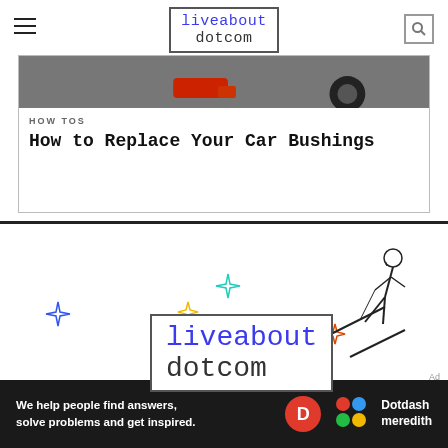liveabout dotcom
[Figure (photo): Partial photo of car tools/equipment on floor, red object visible]
HOW TOS
How to Replace Your Car Bushings
[Figure (illustration): liveabout dotcom logo with decorative sparkles in blue, yellow, teal, orange and a ski jumper illustration]
Ad
We help people find answers, solve problems and get inspired.
[Figure (logo): Dotdash Meredith logo]